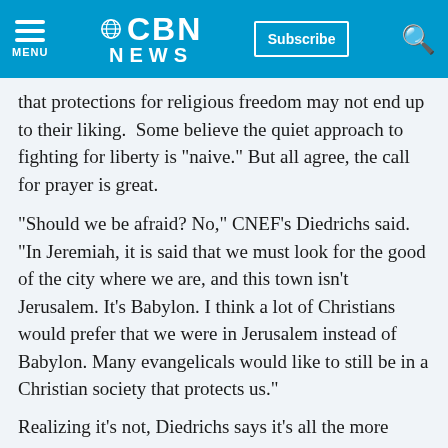CBN NEWS
that protections for religious freedom may not end up to their liking.  Some believe the quiet approach to fighting for liberty is "naive." But all agree, the call for prayer is great.
"Should we be afraid? No," CNEF's Diedrichs said. "In Jeremiah, it is said that we must look for the good of the city where we are, and this town isn't Jerusalem. It's Babylon. I think a lot of Christians would prefer that we were in Jerusalem instead of Babylon. Many evangelicals would like to still be in a Christian society that protects us."
Realizing it's not, Diedrichs says it's all the more